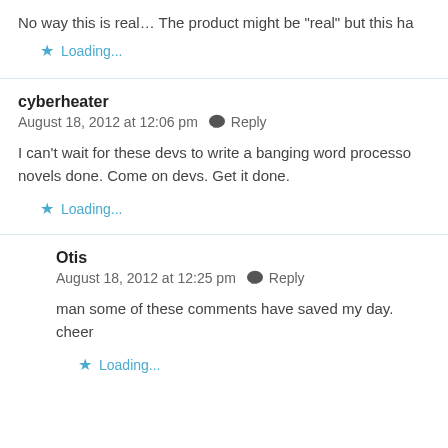No way this is real… The product might be “real” but this ha
Loading...
cyberheater
August 18, 2012 at 12:06 pm  Reply
I can’t wait for these devs to write a banging word processo novels done. Come on devs. Get it done.
Loading...
Otis
August 18, 2012 at 12:25 pm  Reply
man some of these comments have saved my day. cheer
Loading...